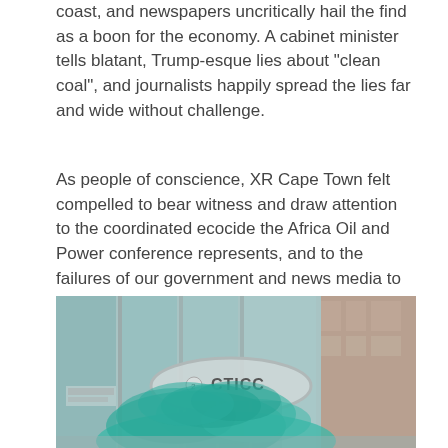coast, and newspapers uncritically hail the find as a boon for the economy. A cabinet minister tells blatant, Trump-esque lies about "clean coal", and journalists happily spread the lies far and wide without challenge.
As people of conscience, XR Cape Town felt compelled to bear witness and draw attention to the coordinated ecocide the Africa Oil and Power conference represents, and to the failures of our government and news media to simply tell us the truth about one of the greatest threats our species has ever faced.
[Figure (photo): Exterior of the CTICC (Cape Town International Convention Centre) building with teal/green smoke billowing in front of the entrance, suggesting a protest action.]